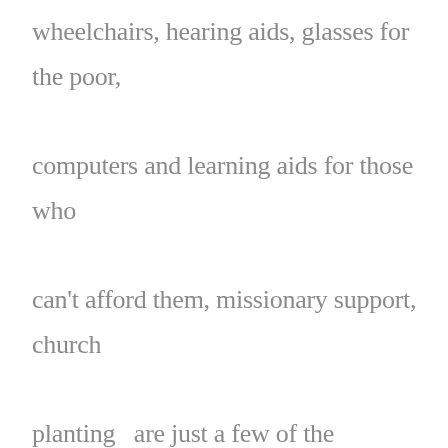wheelchairs, hearing aids, glasses for the poor, computers and learning aids for those who can't afford them, missionary support, church planting  are just a few of the ministries a financially strong but membership weak church can engage in. At the other end churches that are financially weak but have the manpower can provide the muscles and energy